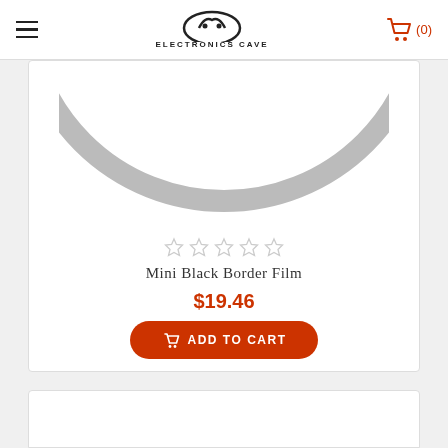ELECTRONICS CAVE
[Figure (photo): Partial view of a circular ring/film product (Mini Black Border Film) shown from top angle, gray arc shape on white background]
[Figure (other): 5 empty star rating icons (no fill)]
Mini Black Border Film
$19.46
ADD TO CART